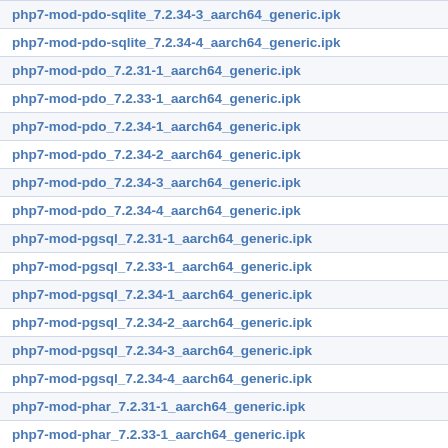php7-mod-pdo-sqlite_7.2.34-3_aarch64_generic.ipk
php7-mod-pdo-sqlite_7.2.34-4_aarch64_generic.ipk
php7-mod-pdo_7.2.31-1_aarch64_generic.ipk
php7-mod-pdo_7.2.33-1_aarch64_generic.ipk
php7-mod-pdo_7.2.34-1_aarch64_generic.ipk
php7-mod-pdo_7.2.34-2_aarch64_generic.ipk
php7-mod-pdo_7.2.34-3_aarch64_generic.ipk
php7-mod-pdo_7.2.34-4_aarch64_generic.ipk
php7-mod-pgsql_7.2.31-1_aarch64_generic.ipk
php7-mod-pgsql_7.2.33-1_aarch64_generic.ipk
php7-mod-pgsql_7.2.34-1_aarch64_generic.ipk
php7-mod-pgsql_7.2.34-2_aarch64_generic.ipk
php7-mod-pgsql_7.2.34-3_aarch64_generic.ipk
php7-mod-pgsql_7.2.34-4_aarch64_generic.ipk
php7-mod-phar_7.2.31-1_aarch64_generic.ipk
php7-mod-phar_7.2.33-1_aarch64_generic.ipk
php7-mod-phar_7.2.34-1_aarch64_generic.ipk
php7-mod-phar_7.2.34-2_aarch64_generic.ipk
php7-mod-phar_7.2.34-3_aarch64_generic.ipk
php7-mod-phar_7.2.34-4_aarch64_generic.ipk